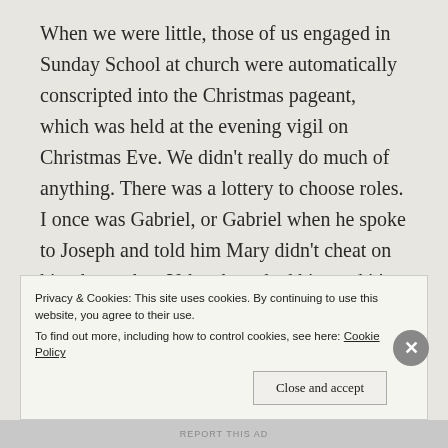When we were little, those of us engaged in Sunday School at church were automatically conscripted into the Christmas pageant, which was held at the evening vigil on Christmas Eve. We didn't really do much of anything. There was a lottery to choose roles. I once was Gabriel, or Gabriel when he spoke to Joseph and told him Mary didn't cheat on him, but rather, Yahweh cucked him and it's a good thing, and also later on, some dudes want to kill you guys so fuck off to Egypt for a while. But I didn't have any lines. I just stood there while someone read that passage from the Book of Matthew. And that's what we all did: we just stood there, silent and frozen, as someone read passages from the Bible.
Privacy & Cookies: This site uses cookies. By continuing to use this website, you agree to their use.
To find out more, including how to control cookies, see here: Cookie Policy